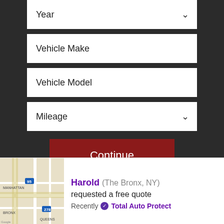Year (dropdown)
Vehicle Make
Vehicle Model
Mileage (dropdown)
Continue
Over 40 Years Experience
With 45 years of experience in the
Harold (The Bronx, NY) requested a free quote Recently Total Auto Protect